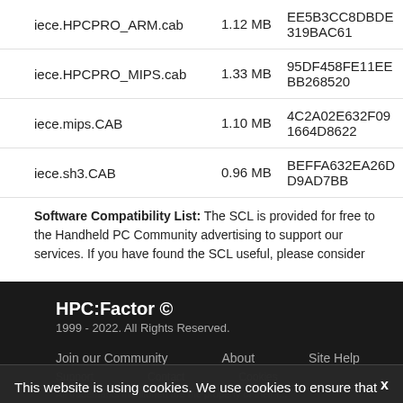| Filename | Size | Hash |
| --- | --- | --- |
| iece.HPCPRO_ARM.cab | 1.12 MB | EE5B3CC8DBDE319BAC61 |
| iece.HPCPRO_MIPS.cab | 1.33 MB | 95DF458FE11EEBB268520 |
| iece.mips.CAB | 1.10 MB | 4C2A02E632F091664D8622 |
| iece.sh3.CAB | 0.96 MB | BEFFA632EA26DD9AD7BB |
Software Compatibility List: The SCL is provided for free to the Handheld PC Community advertising to support our services. If you have found the SCL useful, please consider
HPC:Factor © 1999 - 2022. All Rights Reserved.
Join our Community | About | Site Help
This website is using cookies. We use cookies to ensure that we give you the best experience on our website. More info. That's Fine